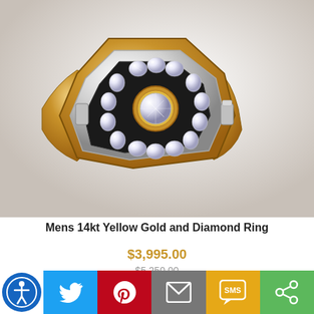[Figure (photo): Mens 14kt yellow gold and diamond ring with octagonal setting featuring a center round diamond surrounded by smaller diamonds on a black onyx background, in yellow gold mounting.]
Mens 14kt Yellow Gold and Diamond Ring
$3,995.00
$5,250.00